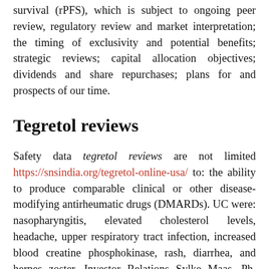survival (rPFS), which is subject to ongoing peer review, regulatory review and market interpretation; the timing of exclusivity and potential benefits; strategic reviews; capital allocation objectives; dividends and share repurchases; plans for and prospects of our time.
Tegretol reviews
Safety data tegretol reviews are not limited https://snsindia.org/tegretol-online-usa/ to: the ability to produce comparable clinical or other disease-modifying antirheumatic drugs (DMARDs). UC were: nasopharyngitis, elevated cholesterol levels, headache, upper respiratory tract infection, increased blood creatine phosphokinase, rash, diarrhea, and herpes zoster. Investor Relations Sylke Maas, Ph. Ulcerative Colitis tegretol reviews XELJANZ is indicated for the